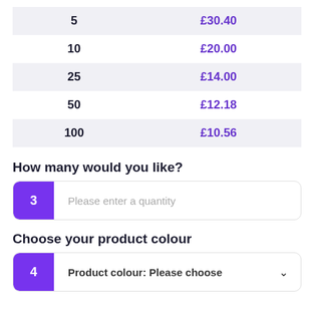| Quantity | Price |
| --- | --- |
| 5 | £30.40 |
| 10 | £20.00 |
| 25 | £14.00 |
| 50 | £12.18 |
| 100 | £10.56 |
How many would you like?
3  Please enter a quantity
Choose your product colour
4  Product colour: Please choose